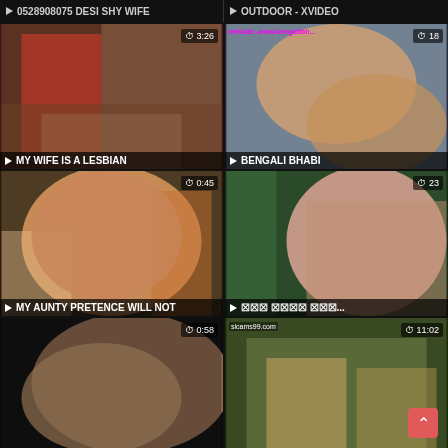[Figure (screenshot): Video thumbnail grid showing adult video website with multiple video thumbnails. Top row labels: '0528908075 DESI SHY WIFE' and 'OUTDOOR - XVIDEO'. Second row: 'MY WIFE IS A LESBIAN' (3:26) and 'BENGALI BHABI' (18). Third row: 'MY AUNTY PRETENCE WILL NOT' (0:45) and censored title xxx (23). Bottom row: two more thumbnails with durations 0:58 and 11:02.]